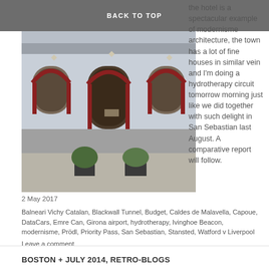BACK TO TOP
[Figure (photo): Exterior of a modernisme architecture building with arched windows, ornate red brick detailing on a white/light blue facade, and a dark wooden arched door. Two potted plants sit on the sidewalk in front.]
the hotel is a spectacular example of modernisme architecture, the town has a lot of fine houses in similar vein and I'm doing a hydrotherapy circuit tomorrow morning just like we did together with such delight in San Sebastian last August. A comparative report will follow.
2 May 2017
Balneari Vichy Catalan, Blackwall Tunnel, Budget, Caldes de Malavella, Capoue, DataCars, Emre Can, Girona airport, hydrotherapy, Ivinghoe Beacon, modernisme, Prödl, Priority Pass, San Sebastian, Stansted, Watford v Liverpool
Leave a comment
BOSTON + JULY 2014, RETRO-BLOGS